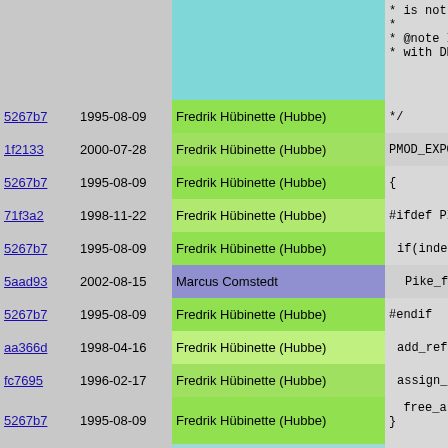| Hash | Date | Author | Code |
| --- | --- | --- | --- |
|  |  |  | * is not h
*
* @note If
* with DEB |
| 5267b7 | 1995-08-09 | Fredrik Hübinette (Hubbe) | */ |
| 1f2133 | 2000-07-28 | Fredrik Hübinette (Hubbe) | PMOD_EXPORT |
| 5267b7 | 1995-08-09 | Fredrik Hübinette (Hubbe) | { |
| 71f3a2 | 1998-11-22 | Fredrik Hübinette (Hubbe) | #ifdef PIKE_ |
| 5267b7 | 1995-08-09 | Fredrik Hübinette (Hubbe) | if(index<0 |
| 5aad93 | 2002-08-15 | Marcus Comstedt | Pike_fat |
| 5267b7 | 1995-08-09 | Fredrik Hübinette (Hubbe) | #endif |
| aa366d | 1998-04-16 | Fredrik Hübinette (Hubbe) | add_ref(v |
| fc7695 | 1996-02-17 | Fredrik Hübinette (Hubbe) | assign_sv |
| 5267b7 | 1995-08-09 | Fredrik Hübinette (Hubbe) | free_array
} |
| 67a0a3 | 2005-09-12 | H. William Welliver III | /** Is dest |
| bcd801 | 2003-04-28 | Martin Stjernholm | PMOD_EXPORT |
| fb567a | 2003-04-27 | Martin Stjernholm | {
  int e; |